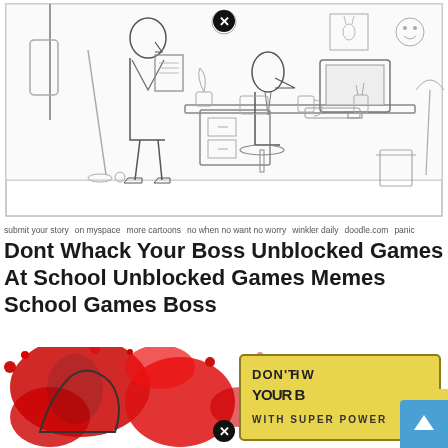[Figure (illustration): Line art cartoon illustration of an office scene: a standing man in a suit holding papers/clipboard, a person sitting at a desk with a computer, file cabinets, plants, and office items. A black X close button appears near the top center.]
submit your story   on myspace   more cartoons   no when no want no worry   winkler daily   doodle.com   panic
Dont Whack Your Boss Unblocked Games At School Unblocked Games Memes School Games Boss
[Figure (illustration): Colorful illustration with red splatter background showing cartoon characters fighting, and a sign reading DON'T WHACK YOUR BOSS WITH SUPER POWER. A black X close button appears near bottom center. A blue scroll-up arrow button appears at lower right.]